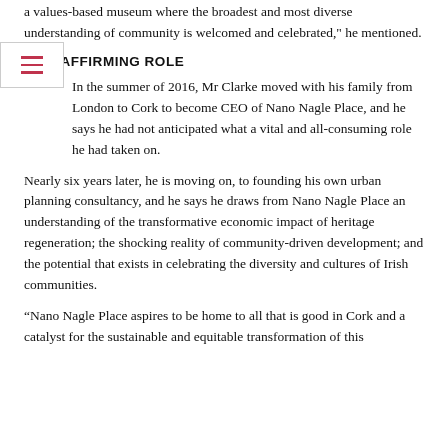a values-based museum where the broadest and most diverse understanding of community is welcomed and celebrated," he mentioned.
LIFE-AFFIRMING ROLE
In the summer of 2016, Mr Clarke moved with his family from London to Cork to become CEO of Nano Nagle Place, and he says he had not anticipated what a vital and all-consuming role he had taken on.
Nearly six years later, he is moving on, to founding his own urban planning consultancy, and he says he draws from Nano Nagle Place an understanding of the transformative economic impact of heritage regeneration; the shocking reality of community-driven development; and the potential that exists in celebrating the diversity and cultures of Irish communities.
“Nano Nagle Place aspires to be home to all that is good in Cork and a catalyst for the sustainable and equitable transformation of this